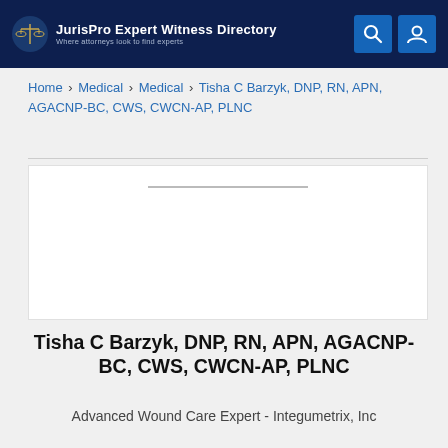JurisPro Expert Witness Directory — Where attorneys look to find experts
Home › Medical › Medical › Tisha C Barzyk, DNP, RN, APN, AGACNP-BC, CWS, CWCN-AP, PLNC
[Figure (photo): Profile photo placeholder area with horizontal divider line]
Tisha C Barzyk, DNP, RN, APN, AGACNP-BC, CWS, CWCN-AP, PLNC
Advanced Wound Care Expert - Integumetrix, Inc